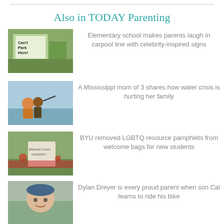Also in TODAY Parenting
[Figure (photo): Sign in grass that reads 'Can't Park Here' with a celebrity-inspired image]
Elementary school makes parents laugh in carpool line with celebrity-inspired signs
[Figure (photo): People gathered outdoors with someone pointing]
A Mississippi mom of 3 shares how water crisis is hurting her family
[Figure (photo): BYU university entrance sign with flowers]
BYU removed LGBTQ resource pamphlets from welcome bags for new students
[Figure (photo): Young child wearing a bike helmet smiling]
Dylan Dreyer is every proud parent when son Cal learns to ride his bike
[Figure (photo): View from cockpit of commercial plane]
First Tongan woman to pilot a commercial